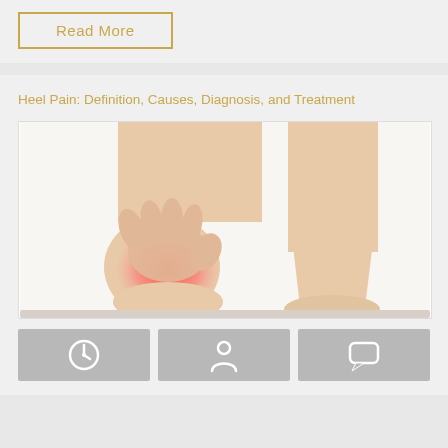Read More
Heel Pain: Definition, Causes, Diagnosis, and Treatment
[Figure (photo): Photo of a person holding their heel, with a red highlighted area indicating heel pain, against a white background. Two legs/feet are visible.]
[Figure (infographic): Three grey icon boxes: a clock/history icon, a person/user icon, and a speech bubble/comment icon.]